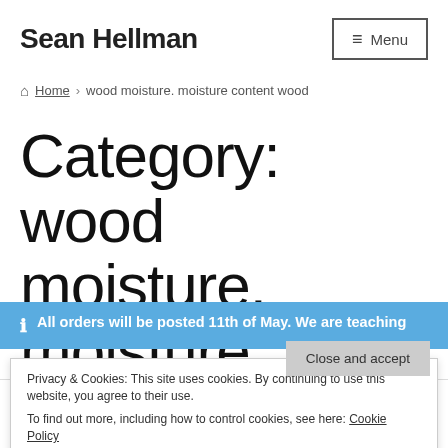Sean Hellman
Menu
Home › wood moisture. moisture content wood
Category: wood moisture. moisture
All orders will be posted 11th of May. We are teaching
Privacy & Cookies: This site uses cookies. By continuing to use this website, you agree to their use. To find out more, including how to control cookies, see here: Cookie Policy
Close and accept